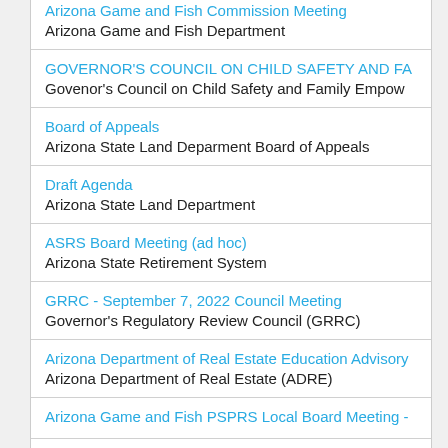Arizona Game and Fish Commission Meeting
Arizona Game and Fish Department
GOVERNOR'S COUNCIL ON CHILD SAFETY AND FA...
Govenor's Council on Child Safety and Family Empow...
Board of Appeals
Arizona State Land Deparment Board of Appeals
Draft Agenda
Arizona State Land Department
ASRS Board Meeting (ad hoc)
Arizona State Retirement System
GRRC - September 7, 2022 Council Meeting
Governor's Regulatory Review Council (GRRC)
Arizona Department of Real Estate Education Advisory...
Arizona Department of Real Estate (ADRE)
Arizona Game and Fish PSPRS Local Board Meeting -...